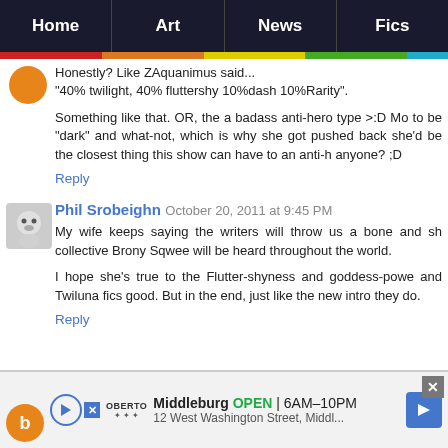Home | Art | News | Fics
Honestly? Like ZAquanimus said...
"40% twilight, 40% fluttershy 10%dash 10%Rarity".

Something like that. OR, the a badass anti-hero type >:D Mo to be "dark" and what-not, which is why she got pushed back she'd be the closest thing this show can have to an anti-h anyone? ;D
Reply
Phil Srobeighn  October 20, 2011 at 9:45 PM
My wife keeps saying the writers will throw us a bone and sh collective Brony Sqwee will be heard throughout the world.

I hope she's true to the Flutter-shyness and goddess-powe and Twiluna fics good. But in the end, just like the new intro they do.
Reply
Middleburg  OPEN  6AM-10PM
12 West Washington Street, Middl...